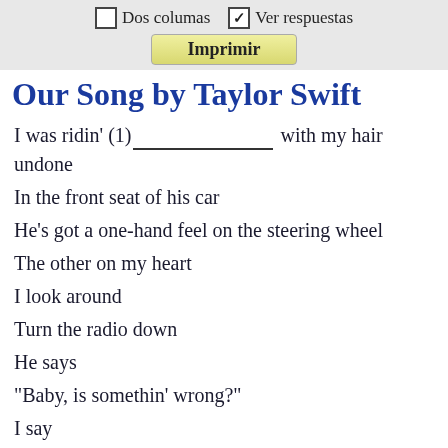☐ Dos columas  ☑ Ver respuestas
Imprimir
Our Song by Taylor Swift
I was ridin' (1)_______________ with my hair undone
In the front seat of his car
He's got a one-hand feel on the steering wheel
The other on my heart
I look around
Turn the radio down
He says
"Baby, is somethin' wrong?"
I say
"Nothing, I was just thinking"
"How we don't have a song"
And he says